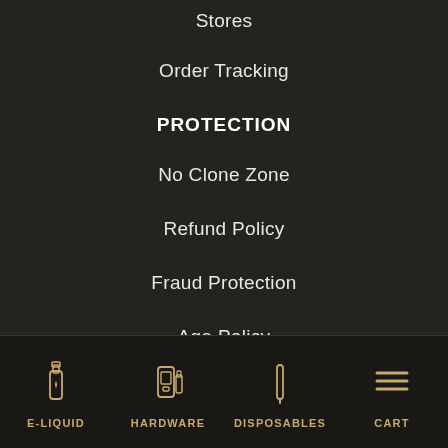Stores
Order Tracking
PROTECTION
No Clone Zone
Refund Policy
Fraud Protection
Age Policy
Terms & Conditions
Contact Us
SECURITY
E-LIQUID  HARDWARE  DISPOSABLES  CART